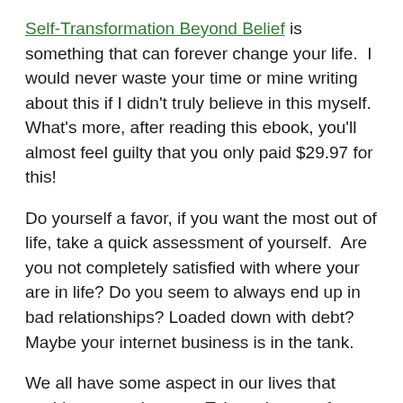Self-Transformation Beyond Belief is something that can forever change your life.  I would never waste your time or mine writing about this if I didn't truly believe in this myself.  What's more, after reading this ebook, you'll almost feel guilty that you only paid $29.97 for this!
Do yourself a favor, if you want the most out of life, take a quick assessment of yourself.  Are you not completely satisfied with where your are in life? Do you seem to always end up in bad relationships? Loaded down with debt? Maybe your internet business is in the tank.
We all have some aspect in our lives that could use a makeover.  Take a time out from what you're doing right now and pick up a copy of this amazing ebook.  You can get it here:
http://www.eraselimitingbeliefs.com
As you can see, this is not an affiliate link, and I don't get a dime